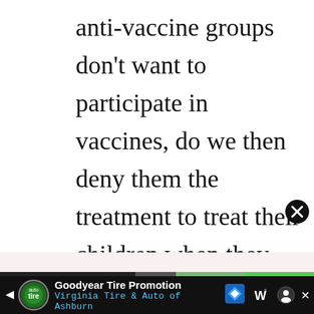anti-vaccine groups don't want to participate in vaccines, do we then deny them the treatment to treat their children when they contract measles, mumps, or whooping cough? Ethically and morally, physicians won't hesitate to help.
Don't miss each new article!
Email Address *
[Figure (other): Advertisement bar: Goodyear Tire Promotion - Virginia Tire & Auto of Ashburn, with logo and directional sign icon]